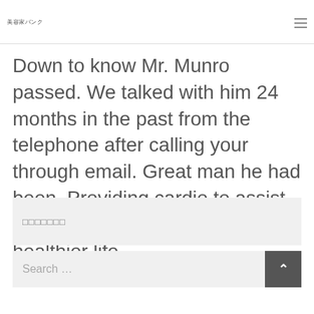美容家バンク
Down to know Mr. Munro passed. We talked with him 24 months in the past from the telephone after calling your through email. Great man he had been. Providing cardio to assist others on their journey to healthier life.
□□□□□□□
Search ...